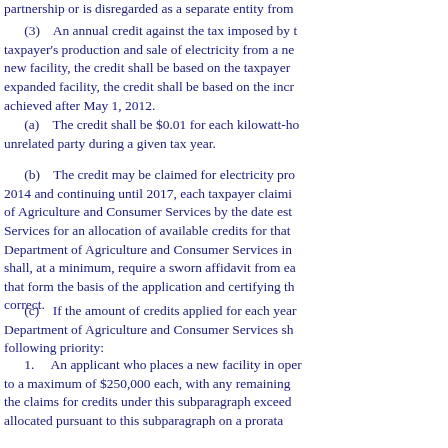partnership or is disregarded as a separate entity from
(3) An annual credit against the tax imposed by taxpayer's production and sale of electricity from a new facility, the credit shall be based on the taxpayer expanded facility, the credit shall be based on the incr achieved after May 1, 2012.
(a) The credit shall be $0.01 for each kilowatt-ho unrelated party during a given tax year.
(b) The credit may be claimed for electricity pro 2014 and continuing until 2017, each taxpayer claimi of Agriculture and Consumer Services by the date est Services for an allocation of available credits for that Department of Agriculture and Consumer Services in shall, at a minimum, require a sworn affidavit from ea that form the basis of the application and certifying th correct.
(c) If the amount of credits applied for each year Department of Agriculture and Consumer Services sh following priority:
1. An applicant who places a new facility in oper to a maximum of $250,000 each, with any remaining the claims for credits under this subparagraph exceed allocated pursuant to this subparagraph on a prorata